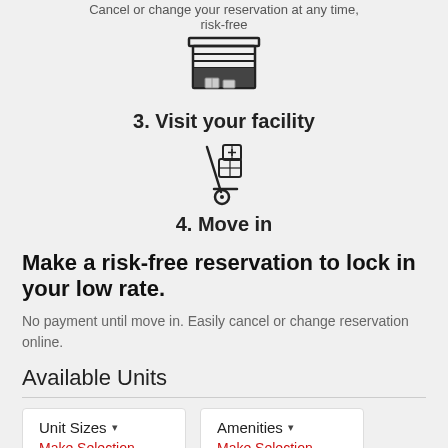Cancel or change your reservation at any time, risk-free
[Figure (illustration): Icon of a storage facility/garage with a roll-up door and boxes inside]
3. Visit your facility
[Figure (illustration): Icon of a hand truck/dolly with boxes being moved]
4. Move in
Make a risk-free reservation to lock in your low rate.
No payment until move in. Easily cancel or change reservation online.
Available Units
Unit Sizes ▾
Make Selection
Amenities ▾
Make Selection